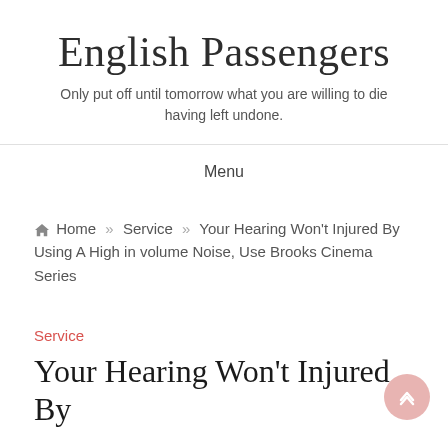English Passengers
Only put off until tomorrow what you are willing to die having left undone.
Menu
Home » Service » Your Hearing Won't Injured By Using A High in volume Noise, Use Brooks Cinema Series
Service
Your Hearing Won't Injured By